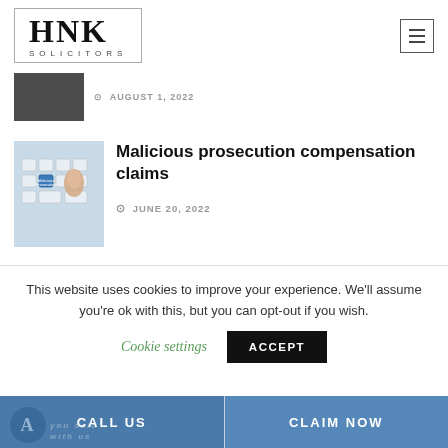HNK SOLICITORS
AUGUST 1, 2022
Malicious prosecution compensation claims
JUNE 20, 2022
This website uses cookies to improve your experience. We'll assume you're ok with this, but you can opt-out if you wish. Cookie settings ACCEPT
CALL US
CLAIM NOW